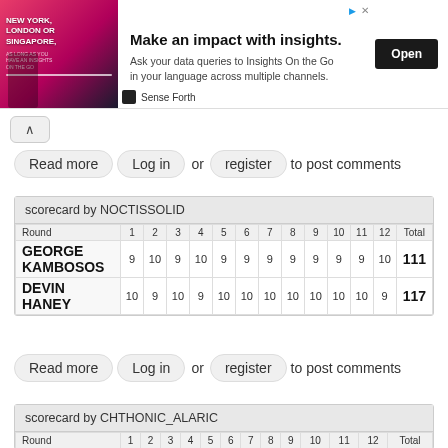[Figure (screenshot): Advertisement banner: 'Make an impact with insights.' - Sense Forth ad with Open button]
Read more  Log in  or  register  to post comments
| Round | 1 | 2 | 3 | 4 | 5 | 6 | 7 | 8 | 9 | 10 | 11 | 12 | Total |
| --- | --- | --- | --- | --- | --- | --- | --- | --- | --- | --- | --- | --- | --- |
| GEORGE KAMBOSOS | 9 | 10 | 9 | 10 | 9 | 9 | 9 | 9 | 9 | 9 | 9 | 10 | 111 |
| DEVIN HANEY | 10 | 9 | 10 | 9 | 10 | 10 | 10 | 10 | 10 | 10 | 10 | 9 | 117 |
Read more  Log in  or  register  to post comments
| Round | 1 | 2 | 3 | 4 | 5 | 6 | 7 | 8 | 9 | 10 | 11 | 12 | Total |
| --- | --- | --- | --- | --- | --- | --- | --- | --- | --- | --- | --- | --- | --- |